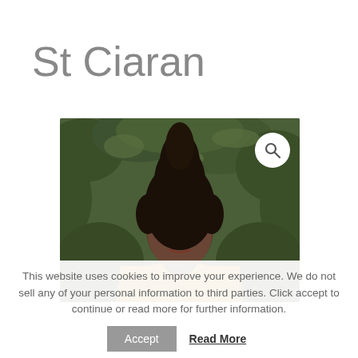St Ciaran
[Figure (photo): Portrait photo of a Black woman with a tall natural upswept hairstyle, wearing a golden/mustard knit wrap, posed in front of green leafy foliage background. A circular search icon appears in the top-right corner of the image.]
This website uses cookies to improve your experience. We do not sell any of your personal information to third parties. Click accept to continue or read more for further information.
Accept   Read More